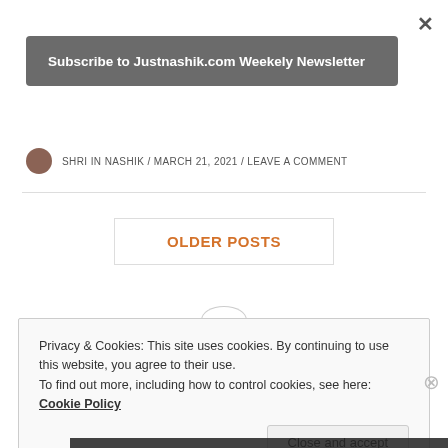×
Subscribe to Justnashik.com Weekely Newsletter
SHRI IN NASHIK / MARCH 21, 2021 / LEAVE A COMMENT
OLDER POSTS
Privacy & Cookies: This site uses cookies. By continuing to use this website, you agree to their use.
To find out more, including how to control cookies, see here: Cookie Policy
Close and accept